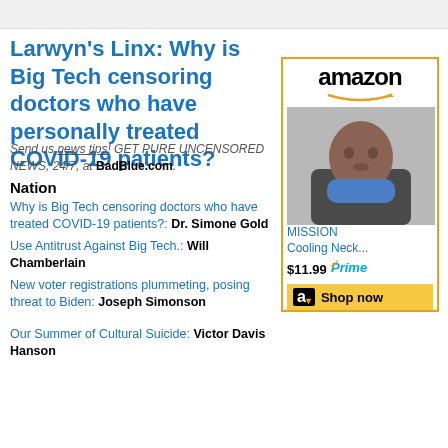Larwyn's Linx: Why is Big Tech censoring doctors who have personally treated COVID-19 patients?
Send us news tips! GET PURE UNCENSORED NEWS, 24/7, at BadBlue.com.
Nation
Why is Big Tech censoring doctors who have treated COVID-19 patients?: Dr. Simone Gold
Use Antitrust Against Big Tech.: Will Chamberlain
New voter registrations plummeting, posing threat to Biden: Joseph Simonson
Our Summer of Cultural Suicide: Victor Davis Hanson
[Figure (infographic): Amazon advertisement box showing logo, person wearing blue neck gaiter/cooling neck wrap, product name MISSION Cooling Neck..., price $11.99, Prime badge, and Shop now button]